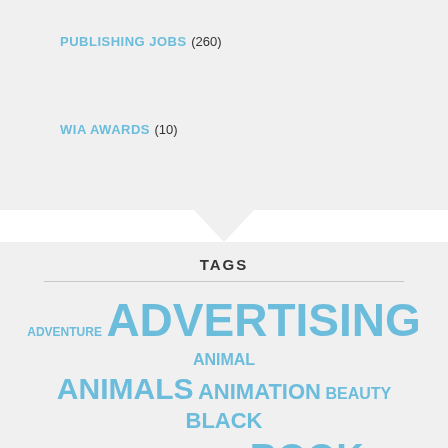PUBLISHING JOBS (260)
WIA AWARDS (10)
TAGS
adventure ADVERTISING animal ANIMALS ANIMATION beauty BLACK AND WHITE BOOK BOOK COVER CHILDREN CHILDREN'S CHILDREN'S BOOK CHILDREN'S BOOKS christmas cover cute DESIGN DIGITAL digital illustration EDITORIAL